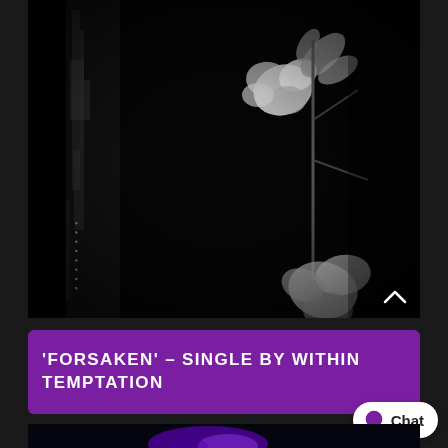[Figure (photo): Black and white album cover photo showing a vertical dark stripe/pillar on the left side and blurred flowers and leaves on a dark/black background. Small text characters visible vertically along the left stripe.]
'FORSAKEN' – SINGLE BY WITHIN TEMPTATION
[Figure (other): Chat button with speech bubble icon and 'Chat' text on white rounded pill background]
[Figure (photo): Bottom strip of a dark image with purple/blue light glow effect, partially visible]